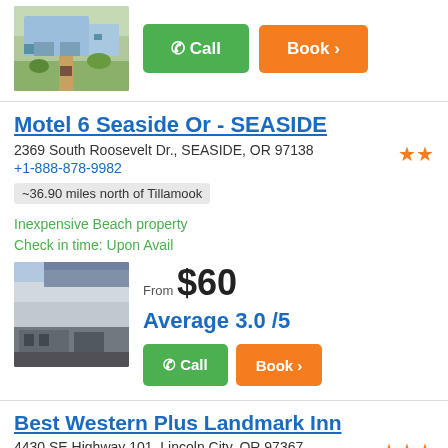[Figure (photo): House exterior with gardens and driveway]
Call | Book >
Motel 6 Seaside Or - SEASIDE
2369 South Roosevelt Dr., SEASIDE, OR 97138
+1-888-878-9982
~36.90 miles north of Tillamook
Inexpensive Beach property
Check in time: Upon Avail
[Figure (photo): Motel 6 exterior with canopy and parking lot]
From $60
Average 3.0 /5
Call | Book >
Best Western Plus Landmark Inn
4430 SE Highway 101, Lincoln City, OR 97367
+1-888-389-4485
~37.02 miles south of Tillamook